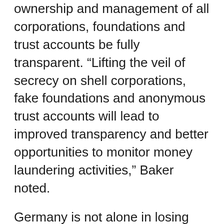ownership and management of all corporations, foundations and trust accounts be fully transparent.  “Lifting the veil of secrecy on shell corporations, fake foundations and anonymous trust accounts will lead to improved transparency and better opportunities to monitor money laundering activities,” Baker noted.
Germany is not alone in losing money to tax evasion.  Ireland recently recovered over a billion dollars in a crackdown of offshore bank accounts.  The British trade union TUC has claimed that tax evasion is costing the UK treasury more than $50 billion per year.
Baker said that dlis sion d petitions or d